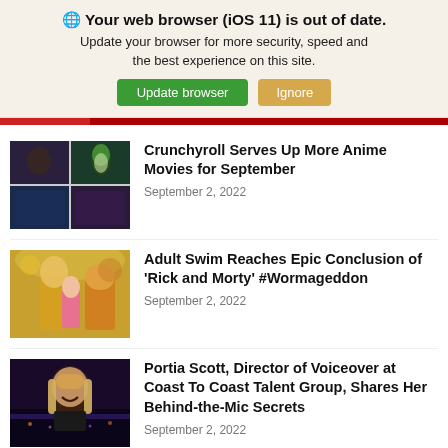🌐 Your web browser (iOS 11) is out of date. Update your browser for more security, speed and the best experience on this site. [Update browser] [Ignore]
[Figure (photo): Anime movie collage with four panels showing different animated characters]
Crunchyroll Serves Up More Anime Movies for September
September 2, 2022
[Figure (photo): Colorful scene with costumed figures and decorative backdrop, related to Rick and Morty Wormageddon event]
Adult Swim Reaches Epic Conclusion of 'Rick and Morty' #Wormageddon
September 2, 2022
[Figure (photo): Portrait of Portia Scott, a woman with braided hair smiling, with city lights in the background]
Portia Scott, Director of Voiceover at Coast To Coast Talent Group, Shares Her Behind-the-Mic Secrets
September 2, 2022